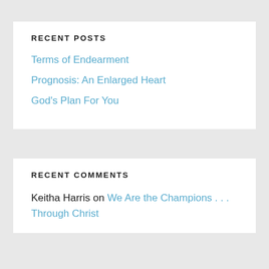RECENT POSTS
Terms of Endearment
Prognosis: An Enlarged Heart
God's Plan For You
RECENT COMMENTS
Keitha Harris on We Are the Champions . . . Through Christ